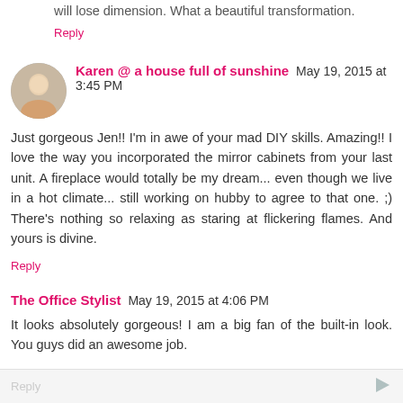will lose dimension. What a beautiful transformation.
Reply
Karen @ a house full of sunshine  May 19, 2015 at 3:45 PM
Just gorgeous Jen!! I'm in awe of your mad DIY skills. Amazing!! I love the way you incorporated the mirror cabinets from your last unit. A fireplace would totally be my dream... even though we live in a hot climate... still working on hubby to agree to that one. ;) There's nothing so relaxing as staring at flickering flames. And yours is divine.
Reply
The Office Stylist  May 19, 2015 at 4:06 PM
It looks absolutely gorgeous! I am a big fan of the built-in look. You guys did an awesome job.
Reply